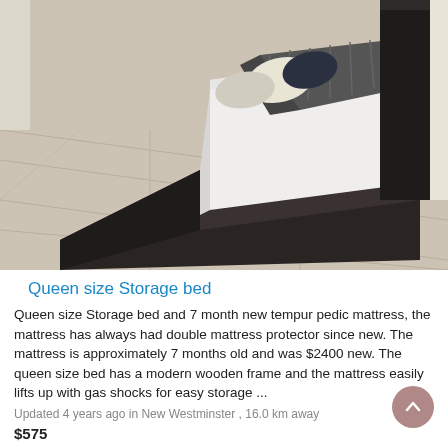[Figure (photo): Aerial/angled view of a queen size storage bed with white mattress, decorative pillows, dark fuzzy blanket, and dark wooden platform frame on a light hardwood floor.]
Queen size Storage bed
Queen size Storage bed and 7 month new tempur pedic mattress, the mattress has always had double mattress protector since new. The mattress is approximately 7 months old and was $2400 new. The queen size bed has a modern wooden frame and the mattress easily lifts up with gas shocks for easy storage ...
Updated 4 years ago in New Westminster , 16.0 km away
$575